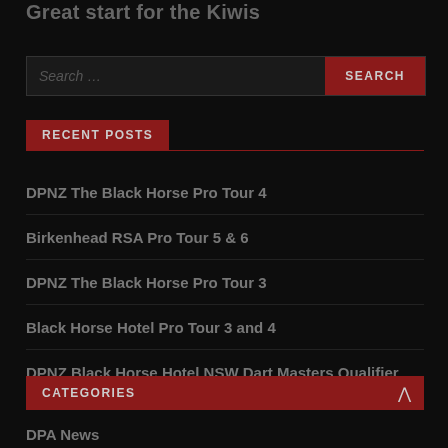Great start for the Kiwis
[Figure (screenshot): Search bar with text 'Search ...' and a red SEARCH button]
RECENT POSTS
DPNZ The Black Horse Pro Tour 4
Birkenhead RSA Pro Tour 5 & 6
DPNZ The Black Horse Pro Tour 3
Black Horse Hotel Pro Tour 3 and 4
DPNZ Black Horse Hotel NSW Dart Masters Qualifier
CATEGORIES
DPA News